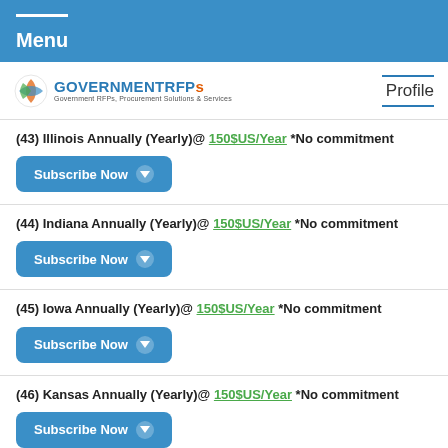Menu
[Figure (logo): GOVERNMENTRFPs logo with tagline 'Government RFPs, Procurement Solutions & Services' and Profile link]
(43) Illinois Annually (Yearly)@ 150$US/Year *No commitment
(44) Indiana Annually (Yearly)@ 150$US/Year *No commitment
(45) Iowa Annually (Yearly)@ 150$US/Year *No commitment
(46) Kansas Annually (Yearly)@ 150$US/Year *No commitment